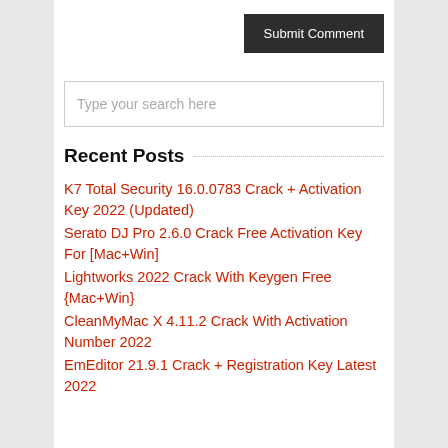Submit Comment
Type your search here
Recent Posts
K7 Total Security 16.0.0783 Crack + Activation Key 2022 (Updated)
Serato DJ Pro 2.6.0 Crack Free Activation Key For [Mac+Win]
Lightworks 2022 Crack With Keygen Free {Mac+Win}
CleanMyMac X 4.11.2 Crack With Activation Number 2022
EmEditor 21.9.1 Crack + Registration Key Latest 2022